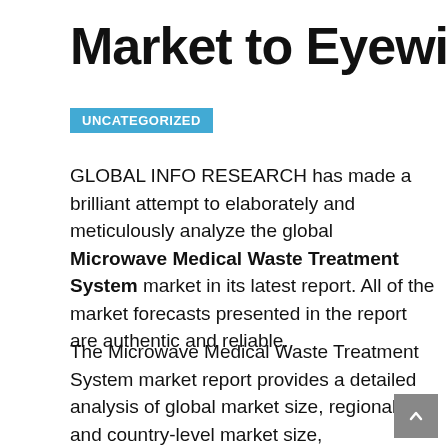Market to Eyewitness Mas
UNCATEGORIZED
GLOBAL INFO RESEARCH has made a brilliant attempt to elaborately and meticulously analyze the global Microwave Medical Waste Treatment System market in its latest report. All of the market forecasts presented in the report are authentic and reliable.
The Microwave Medical Waste Treatment System market report provides a detailed analysis of global market size, regional and country-level market size, segmentation market growth, market share, competitive Landscape, sales analysis, impact of domestic and global market players, value chain